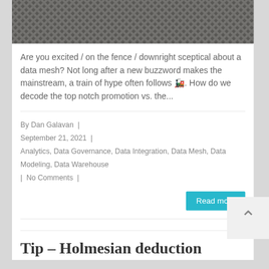[Figure (photo): Close-up photo of a metal wire mesh or grid texture, gray tones.]
Are you excited / on the fence / downright sceptical about a data mesh? Not long after a new buzzword makes the mainstream, a train of hype often follows 🚂. How do we decode the top notch promotion vs. the...
By Dan Galavan  |  September 21, 2021  |  Analytics, Data Governance, Data Integration, Data Mesh, Data Modeling, Data Warehouse  |  No Comments  |
Tip – Holmesian deduction